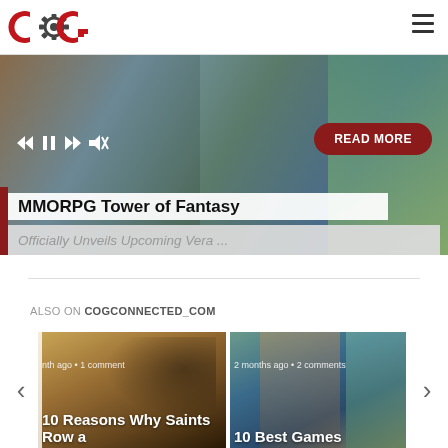COG Connected (logo) — hamburger menu
[Figure (screenshot): Hero banner showing MMORPG Tower of Fantasy game artwork with media playback controls and a READ MORE button]
MMORPG Tower of Fantasy
Officially Unveils Upcoming Vera ...
ALSO ON COGCONNECTED_COM
[Figure (screenshot): Article card: 10 Reasons Why Saints Row a — with motorcycle and rider game artwork. Shows: nth ago • 1 comment]
[Figure (screenshot): Article card: 10 Best Games — with Horizon game artwork showing Aloy. Shows: 2 months ago • 2 comments]